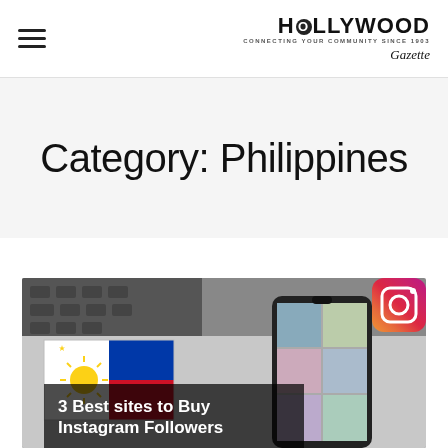HOLLYWOOD — Connecting your community since 1903
Category: Philippines
[Figure (photo): Photo showing a Philippine flag and a smartphone displaying Instagram content, with a laptop keyboard in the background. Red INSTAGRAM label badge in upper right. Overlay text at bottom reads '3 Best sites to Buy Instagram Followers'.]
3 Best sites to Buy Instagram Followers